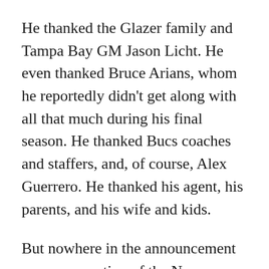He thanked the Glazer family and Tampa Bay GM Jason Licht. He even thanked Bruce Arians, whom he reportedly didn't get along with all that much during his final season. He thanked Bucs coaches and staffers, and, of course, Alex Guerrero. He thanked his agent, his parents, and his wife and kids.
But nowhere in the announcement was any mention of the New England Patriots or New England fans. Ouch.
There was no thank you for Robert Kraft or Bill Belichick. No mention of any of his former Patriots teammates or the New England fans. Brady obviously put a lot of thought into the announcement, and the New England omission is no mistake.